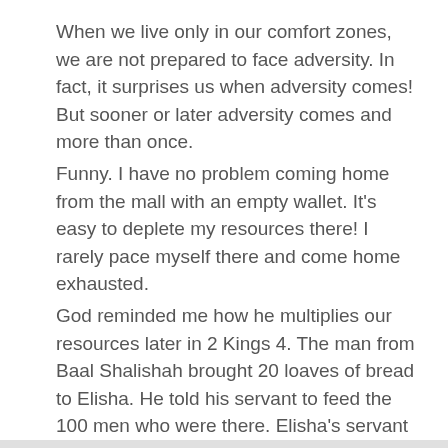When we live only in our comfort zones, we are not prepared to face adversity. In fact, it surprises us when adversity comes! But sooner or later adversity comes and more than once.
Funny. I have no problem coming home from the mall with an empty wallet. It's easy to deplete my resources there! I rarely pace myself there and come home exhausted.
God reminded me how he multiplies our resources later in 2 Kings 4. The man from Baal Shalishah brought 20 loaves of bread to Elisha. He told his servant to feed the 100 men who were there. Elisha's servant said there wasn't enough.